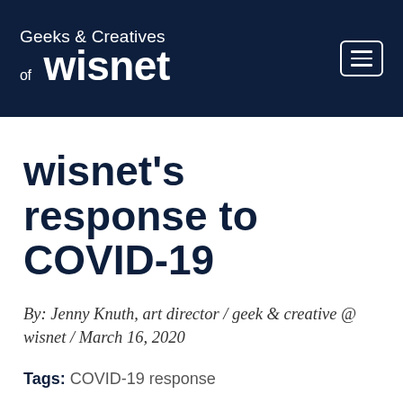Geeks & Creatives of wisnet
wisnet's response to COVID-19
By: Jenny Knuth, art director / geek & creative @ wisnet / March 16, 2020
Tags: COVID-19 response